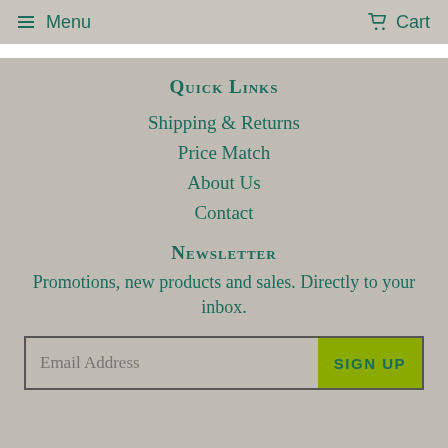Menu   Cart
Quick links
Shipping & Returns
Price Match
About Us
Contact
Newsletter
Promotions, new products and sales. Directly to your inbox.
Email Address   SIGN UP